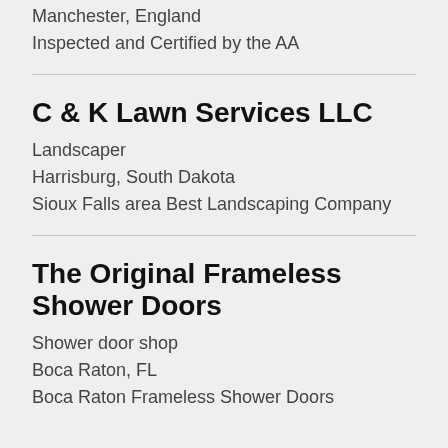Manchester, England
Inspected and Certified by the AA
C & K Lawn Services LLC
Landscaper
Harrisburg, South Dakota
Sioux Falls area Best Landscaping Company
The Original Frameless Shower Doors
Shower door shop
Boca Raton, FL
Boca Raton Frameless Shower Doors